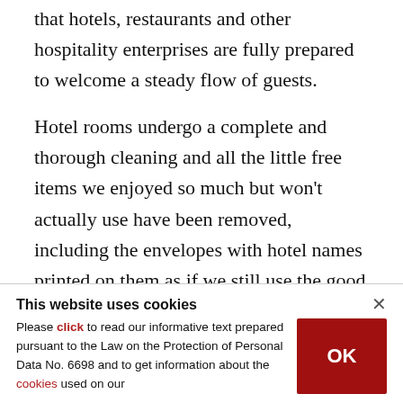that hotels, restaurants and other hospitality enterprises are fully prepared to welcome a steady flow of guests.
Hotel rooms undergo a complete and thorough cleaning and all the little free items we enjoyed so much but won't actually use have been removed, including the envelopes with hotel names printed on them as if we still use the good old post office to send stamped letters as proud souvenirs to loved
This website uses cookies
Please click to read our informative text prepared pursuant to the Law on the Protection of Personal Data No. 6698 and to get information about the cookies used on our